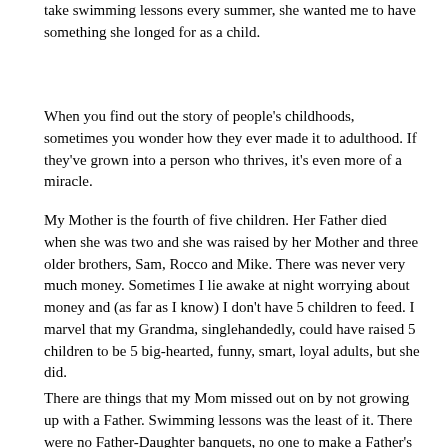take swimming lessons every summer, she wanted me to have something she longed for as a child.
When you find out the story of people's childhoods, sometimes you wonder how they ever made it to adulthood. If they've grown into a person who thrives, it's even more of a miracle.
My Mother is the fourth of five children. Her Father died when she was two and she was raised by her Mother and three older brothers, Sam, Rocco and Mike. There was never very much money. Sometimes I lie awake at night worrying about money and (as far as I know) I don't have 5 children to feed. I marvel that my Grandma, singlehandedly, could have raised 5 children to be 5 big-hearted, funny, smart, loyal adults, but she did.
There are things that my Mom missed out on by not growing up with a Father. Swimming lessons was the least of it. There were no Father-Daughter banquets, no one to make a Father's Day card for, her brothers were the ones who taught her to drive.